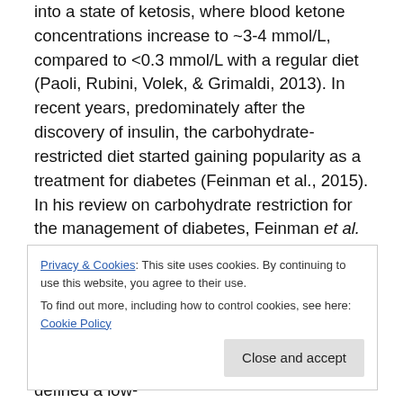into a state of ketosis, where blood ketone concentrations increase to ~3-4 mmol/L, compared to <0.3 mmol/L with a regular diet (Paoli, Rubini, Volek, & Grimaldi, 2013). In recent years, predominately after the discovery of insulin, the carbohydrate-restricted diet started gaining popularity as a treatment for diabetes (Feinman et al., 2015). In his review on carbohydrate restriction for the management of diabetes, Feinman et al. (2015) defined a very low-carbohydrate ketogenic diet and a low-carbohydrate diet slightly differently. He defined a ketogenic diet as very low-
Privacy & Cookies: This site uses cookies. By continuing to use this website, you agree to their use. To find out more, including how to control cookies, see here: Cookie Policy
individuals, ketosis still might not occur. He defined a low-